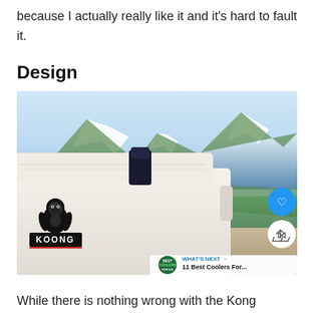because I actually really like it and it's hard to fault it.
Design
[Figure (photo): A white Kong brand cooler sitting on a rocky mountain ledge with snow-capped mountains and green forested slopes in the background. The cooler has a black latch on top and a Kong gorilla logo with KONG text on the front. Social sharing buttons (heart and share) are overlaid on the right side, and a 'What's Next' banner with '11 Best Coolers For...' is in the bottom right corner.]
While there is nothing wrong with the Kong